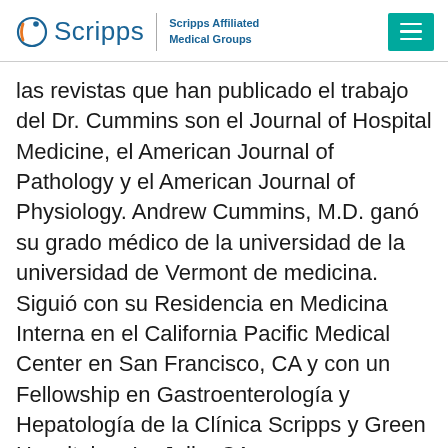[Figure (logo): Scripps Affiliated Medical Groups logo with teal menu button]
las revistas que han publicado el trabajo del Dr. Cummins son el Journal of Hospital Medicine, el American Journal of Pathology y el American Journal of Physiology. Andrew Cummins, M.D. ganó su grado médico de la universidad de la universidad de Vermont de medicina. Siguió con su Residencia en Medicina Interna en el California Pacific Medical Center en San Francisco, CA y con un Fellowship en Gastroenterología y Hepatología de la Clínica Scripps y Green Hospital en La Jolla, CA.